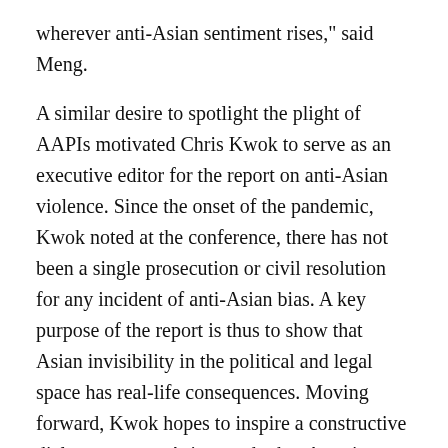wherever anti-Asian sentiment rises," said Meng.

A similar desire to spotlight the plight of AAPIs motivated Chris Kwok to serve as an executive editor for the report on anti-Asian violence. Since the onset of the pandemic, Kwok noted at the conference, there has not been a single prosecution or civil resolution for any incident of anti-Asian bias. A key purpose of the report is thus to show that Asian invisibility in the political and legal space has real-life consequences. Moving forward, Kwok hopes to inspire a constructive dialogue among Asians and other Americans alike. To that end, the report highlights seven initiatives that will help policyholders at all levels keep communities safe and hold perpetrators of violence accountable. These initiatives range from broad prescriptions, such as public education campaigns and collaboration among minority groups, to specific remedies, such as clear reporting mechanisms for victims and the more consistent prosecution of hate crimes